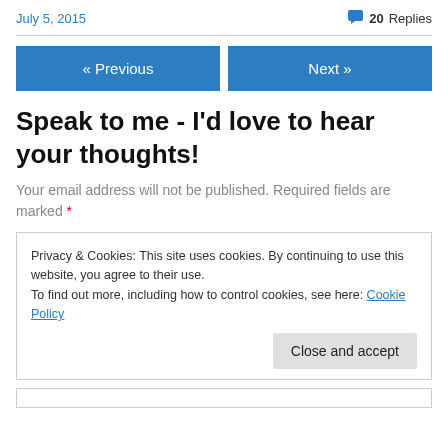July 5, 2015   20 Replies
« Previous   Next »
Speak to me - I'd love to hear your thoughts!
Your email address will not be published. Required fields are marked *
Privacy & Cookies: This site uses cookies. By continuing to use this website, you agree to their use.
To find out more, including how to control cookies, see here: Cookie Policy
Close and accept